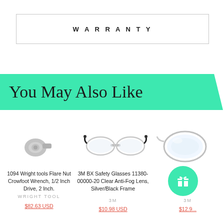WARRANTY
You May Also Like
[Figure (photo): Product photo of 1094 Wright tools Flare Nut Crowfoot Wrench, 1/2 Inch Drive, 2 Inch]
1094 Wright tools Flare Nut Crowfoot Wrench, 1/2 Inch Drive, 2 Inch.
WRIGHT TOOL
$82.63 USD
[Figure (photo): Product photo of 3M BX Safety Glasses 11380-00000-20 Clear Anti-Fog Lens, Silver/Black Frame]
3M BX Safety Glasses 11380-00000-20 Clear Anti-Fog Lens, Silver/Black Frame
3M
$10.98 USD
[Figure (photo): Partially visible product photo of safety goggles]
nturion ... 52, 40 ... Clear
3M
$12.9...